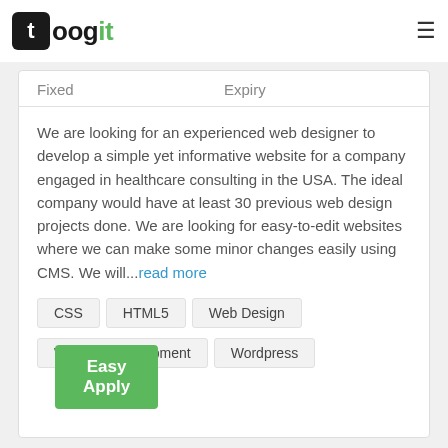toogit
Fixed   Expiry
We are looking for an experienced web designer to develop a simple yet informative website for a company engaged in healthcare consulting in the USA. The ideal company would have at least 30 previous web design projects done. We are looking for easy-to-edit websites where we can make some minor changes easily using CMS. We will...read more
CSS
HTML5
Web Design
Website Development
Wordpress
Easy Apply